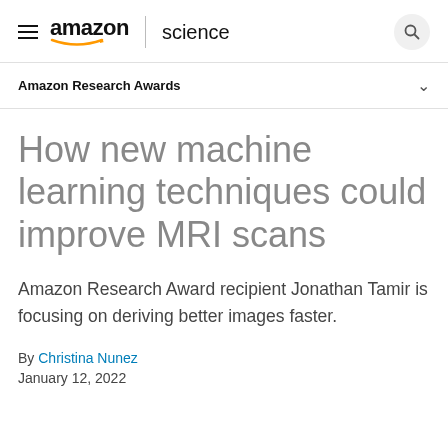amazon science
Amazon Research Awards
How new machine learning techniques could improve MRI scans
Amazon Research Award recipient Jonathan Tamir is focusing on deriving better images faster.
By Christina Nunez
January 12, 2022